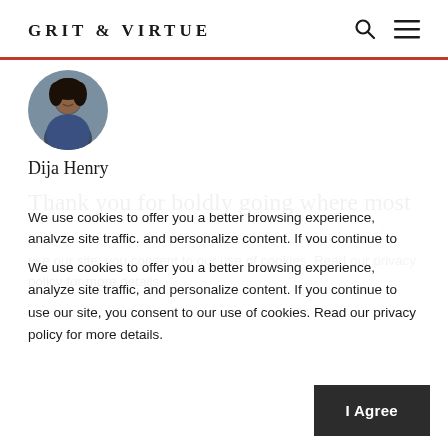GRIT & VIRTUE
[Figure (photo): Circular avatar photo of Dija Henry, a woman with curly hair]
Dija Henry
Thank you for boldly going where most
churches are afraid to go with this subject! I love what you do about reclaiming what the world has stolen and twisted. Amen! I grew up with the thought that being sexy wasn't for Christian women but being sexy for your hubby is a good thing (and feeling desirable yourself as well)! As a young married woman
We use cookies to offer you a better browsing experience, analyze site traffic, and personalize content. If you continue to use our site, you consent to our use of cookies. Read our privacy policy for more details.